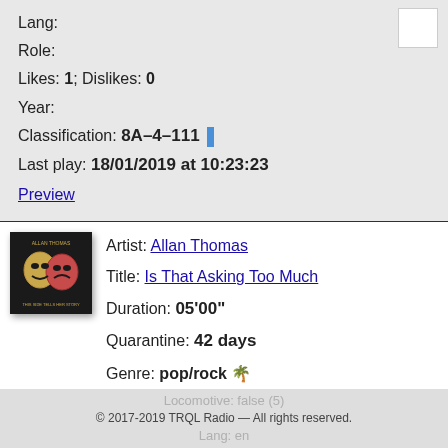Lang:
Role:
Likes: 1; Dislikes: 0
Year:
Classification: 8A-4-111
Last play: 18/01/2019 at 10:23:23
Preview
Artist: Allan Thomas
Title: Is That Asking Too Much
Duration: 05'00"
Quarantine: 42 days
Genre: pop/rock 🌴
Locomotive: false (5)
© 2017-2019 TRQL Radio — All rights reserved.
Lang: en